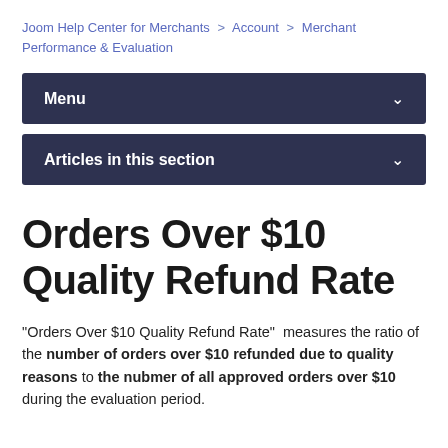Joom Help Center for Merchants > Account > Merchant Performance & Evaluation
Menu
Articles in this section
Orders Over $10 Quality Refund Rate
"Orders Over $10 Quality Refund Rate"  measures the ratio of the number of orders over $10 refunded due to quality reasons to the nubmer of all approved orders over $10 during the evaluation period.